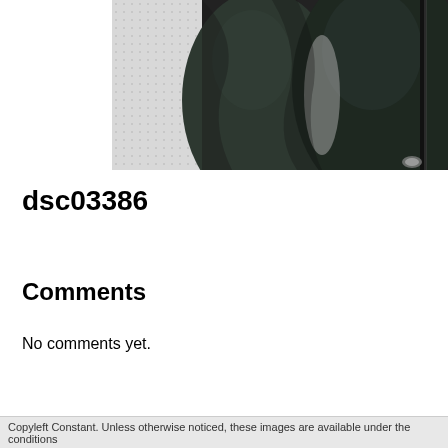[Figure (photo): Close-up photograph of dark grey/charcoal textured fabric or clothing, possibly a jacket or coat, against a light dotted background. The image appears cropped showing curved fabric forms.]
dsc03386
Comments
No comments yet.
Copyleft Constant. Unless otherwise noticed, these images are available under the conditions